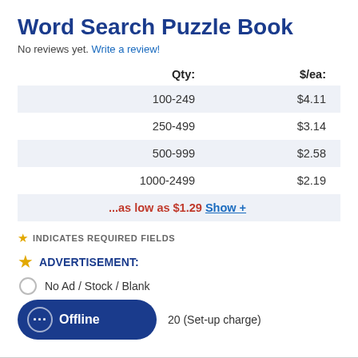Word Search Puzzle Book
No reviews yet. Write a review!
| Qty: | $/ea: |
| --- | --- |
| 100-249 | $4.11 |
| 250-499 | $3.14 |
| 500-999 | $2.58 |
| 1000-2499 | $2.19 |
| ...as low as $1.29 Show + |  |
★ INDICATES REQUIRED FIELDS
★ ADVERTISEMENT:
No Ad / Stock / Blank
20 (Set-up charge)